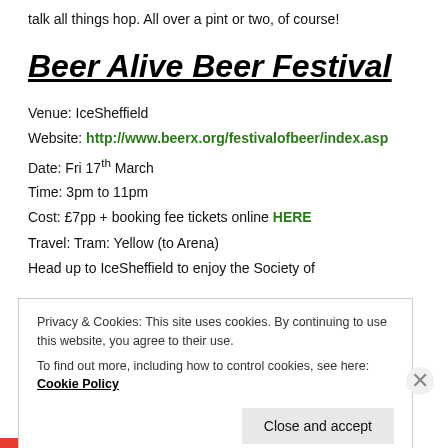talk all things hop. All over a pint or two, of course!
Beer Alive Beer Festival
Venue: IceSheffield
Website: http://www.beerx.org/festivalofbeer/index.asp
Date: Fri 17th March
Time: 3pm to 11pm
Cost: £7pp + booking fee tickets online HERE
Travel: Tram: Yellow (to Arena)
Head up to IceSheffield to enjoy the Society of
Privacy & Cookies: This site uses cookies. By continuing to use this website, you agree to their use.
To find out more, including how to control cookies, see here: Cookie Policy
Close and accept